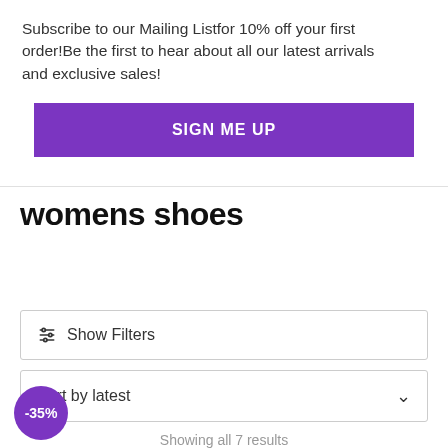Subscribe to our Mailing Listfor 10% off your first order!Be the first to hear about all our latest arrivals and exclusive sales!
[Figure (other): Purple 'SIGN ME UP' button]
womens shoes
Show Filters
Sort by latest
Showing all 7 results
[Figure (other): Purple circular discount badge showing -35%]